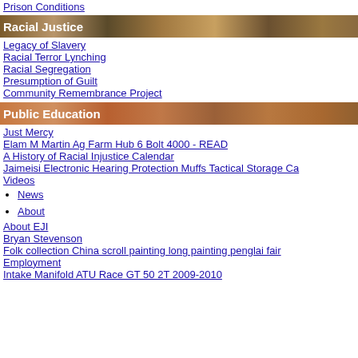Prison Conditions
[Figure (photo): Banner image for Racial Justice section with wood/bookshelf background]
Legacy of Slavery
Racial Terror Lynching
Racial Segregation
Presumption of Guilt
Community Remembrance Project
[Figure (photo): Banner image for Public Education section with brick/wall background]
Just Mercy
Elam M Martin Ag Farm Hub 6 Bolt 4000 - READ
A History of Racial Injustice Calendar
Jaimeisi Electronic Hearing Protection Muffs Tactical Storage Ca
Videos
News
About
About EJI
Bryan Stevenson
Folk collection China scroll painting long painting penglai fair
Employment
Intake Manifold ATU Race GT 50 2T 2009-2010